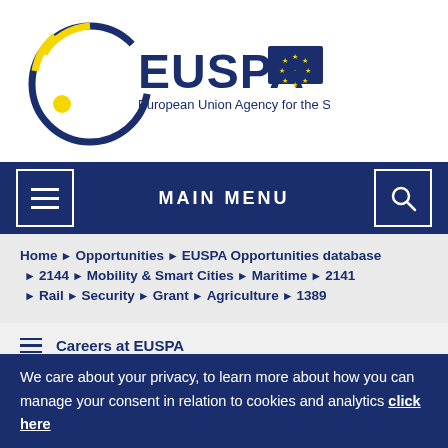[Figure (logo): EUSPA logo — European Union Agency for the Space Programme, circular blue/yellow design with EU flag]
MAIN MENU
Home > Opportunities > EUSPA Opportunities database > 2144 > Mobility & Smart Cities > Maritime > 2141 > Rail > Security > Grant > Agriculture > 1389
Careers at EUSPA
We care about your privacy, to learn more about how you can manage your consent in relation to cookies and analytics click here